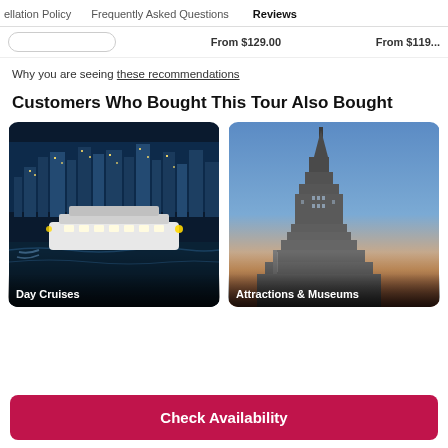ellation Policy   Frequently Asked Questions   Reviews
From $129.00   From $119...
Why you are seeing these recommendations
Customers Who Bought This Tour Also Bought
[Figure (photo): Night cruise ship on the water with city skyline in background, labeled Day Cruises]
[Figure (photo): Empire State Building at dusk with orange sky, labeled Attractions & Museums]
Check Availability